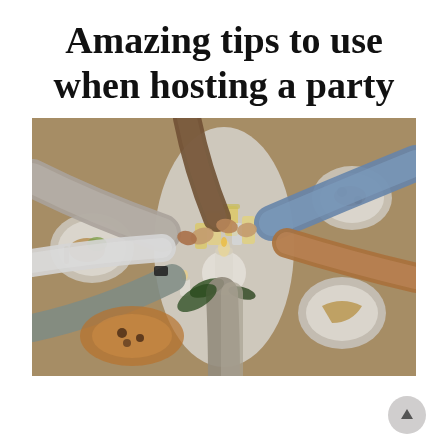Amazing tips to use when hosting a party
[Figure (photo): Overhead photo of people clinking glasses of orange juice/drinks over a dining table filled with food, candles, and plates, seen from above with arms reaching in from all sides.]